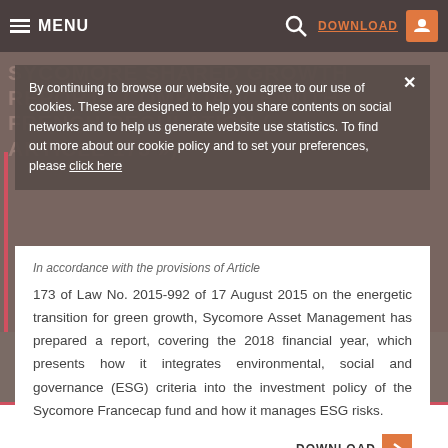MENU  DOWNLOAD
By continuing to browse our website, you agree to our use of cookies. These are designed to help you share contents on social networks and to help us generate website use statistics. To find out more about our cookie policy and to set your preferences, please click here
SYCOMORE SHARED GROWTH REPORT - COMPLIANCE WITH FRENCH REGULATION (« ARTICLE 173 »)
In accordance with the provisions of Article 173 of Law No. 2015-992 of 17 August 2015 on the energetic transition for green growth, Sycomore Asset Management has prepared a report, covering the 2018 financial year, which presents how it integrates environmental, social and governance (ESG) criteria into the investment policy of the Sycomore Francecap fund and how it manages ESG risks.
DOWNLOAD
SYCOMORE LONG / SHORT